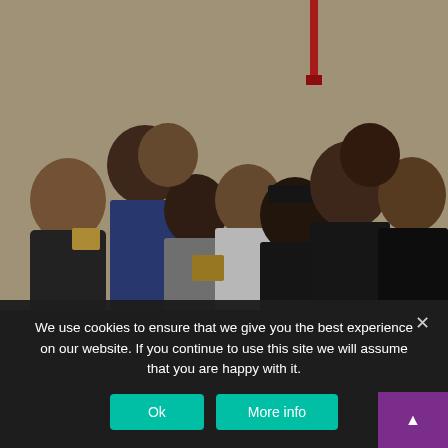[Figure (photo): Group photo of approximately 10 people standing together in front of a beige/tan brick wall, some holding awards/plaques, wearing casual and dark clothing. A red fire alarm or pipe is visible in the upper right area of the wall.]
We use cookies to ensure that we give you the best experience on our website. If you continue to use this site we will assume that you are happy with it.